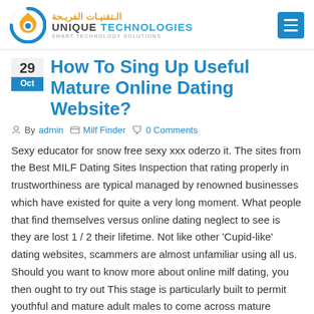Unique Technologies — Smart Technology Solutions
How To Sing Up Useful Mature Online Dating Website?
By admin   Milf Finder   0 Comments
Sexy educator for snow free sexy xxx oderzo it. The sites from the Best MILF Dating Sites Inspection that rating properly in trustworthiness are typical managed by renowned businesses which have existed for quite a very long moment. What people that find themselves versus online dating neglect to see is they are lost 1 / 2 their lifetime. Not like other 'Cupid-like' dating websites, scammers are almost unfamiliar using all us. Should you want to know more about online milf dating, you then ought to try out This stage is particularly built to permit youthful and mature adult males to come across mature females easily